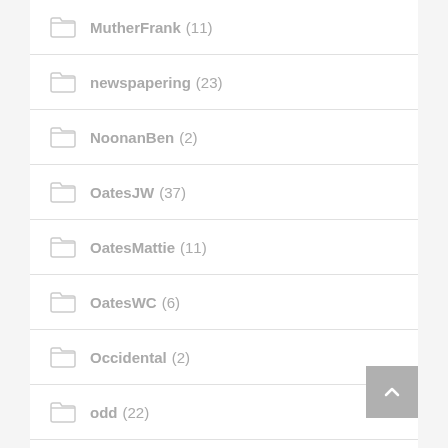MutherFrank (11)
newspapering (23)
NoonanBen (2)
OatesJW (37)
OatesMattie (11)
OatesWC (6)
Occidental (2)
odd (22)
OldWest (1)
Paxton House (5)
Petaluma (14)
PeterJesse (2)